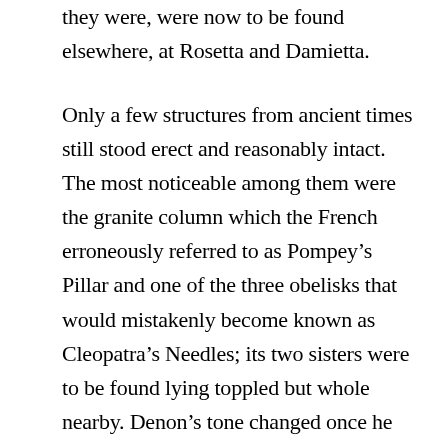they were, were now to be found elsewhere, at Rosetta and Damietta.
Only a few structures from ancient times still stood erect and reasonably intact. The most noticeable among them were the granite column which the French erroneously referred to as Pompey’s Pillar and one of the three obelisks that would mistakenly become known as Cleopatra’s Needles; its two sisters were to be found lying toppled but whole nearby. Denon’s tone changed once he got a closer look at the city: he now described Alexandria’s architecture of ruin with all the withering contempt of an offended European aesthete.